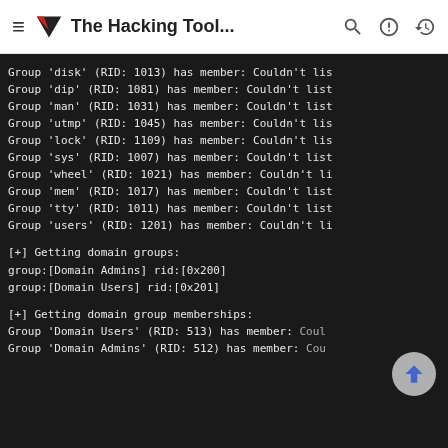The Hacking Tool...
Group 'disk' (RID: 1013) has member: Couldn't lis
Group 'dip' (RID: 1081) has member: Couldn't list
Group 'man' (RID: 1031) has member: Couldn't list
Group 'utmp' (RID: 1045) has member: Couldn't lis
Group 'lock' (RID: 1109) has member: Couldn't lis
Group 'sys' (RID: 1007) has member: Couldn't list
Group 'wheel' (RID: 1021) has member: Couldn't li
Group 'mem' (RID: 1017) has member: Couldn't list
Group 'tty' (RID: 1011) has member: Couldn't list
Group 'users' (RID: 1201) has member: Couldn't li

[+] Getting domain groups:
group:[Domain Admins] rid:[0x200]
group:[Domain Users] rid:[0x201]

[+] Getting domain group memberships:
Group 'Domain Users' (RID: 513) has member: Coul
Group 'Domain Admins' (RID: 512) has member: Cou